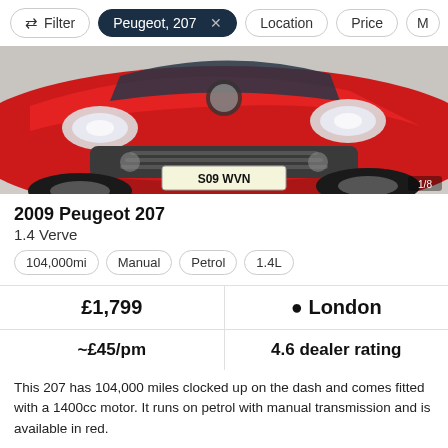Filter | Peugeot, 207 × | Location | Price | M
[Figure (photo): Front close-up of a red 2009 Peugeot 207 car with registration plate S09 WVN, showing headlights, grille and bumper in a showroom.]
2009 Peugeot 207
1.4 Verve
104,000mi
Manual
Petrol
1.4L
£1,799
London
~£45/pm
4.6 dealer rating
This 207 has 104,000 miles clocked up on the dash and comes fitted with a 1400cc motor. It runs on petrol with manual transmission and is available in red.
Get Finance Quote
No impact on credit score
More info